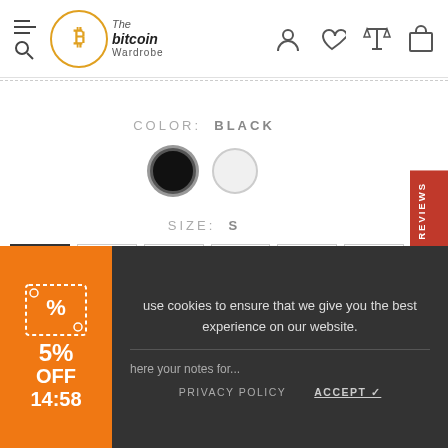The Bitcoin Wardrobe — navigation header with menu, logo, account, wishlist, compare, cart icons
COLOR: BLACK
[Figure (other): Two color swatches: black (selected) and white]
SIZE: S
S | M | L | XL | 2XL | 3XL — size selector buttons, S is active
SIZE GUIDE | DELIVERY & RETURN | MESSAGE — action links
[Figure (other): REVIEWS vertical tab on right side in red]
[Figure (other): Coupon widget: 5% OFF 14:58 countdown timer on orange background]
use cookies to ensure that we give you the best experience on our website.
PRIVACY POLICY     ACCEPT ✓